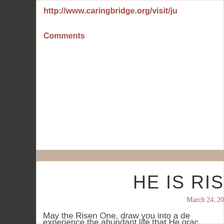http://www.caringbridge.org/visit/ju
Comments
HE IS RIS
March 24, 20
May the Risen One, draw you into a de... experience the abundant life that He grac...